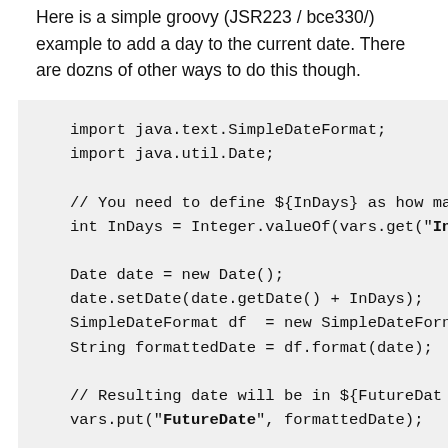Here is a simple groovy (JSR223 / bce330/) example to add a day to the current date. There are dozns of other ways to do this though.
import java.text.SimpleDateFormat;
import java.util.Date;

// You need to define ${InDays} as how ma
int InDays = Integer.valueOf(vars.get("In

Date date = new Date();
date.setDate(date.getDate() + InDays);
SimpleDateFormat df  = new SimpleDateForn
String formattedDate = df.format(date);

// Resulting date will be in ${FutureDat
vars.put("FutureDate", formattedDate);